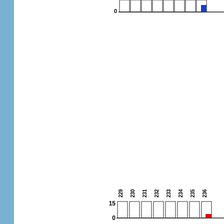[Figure (bar-chart): Partial bar chart (top, clipped)]
[Figure (bar-chart): Bar chart 229-236]
[Figure (bar-chart): Bar chart 267-274]